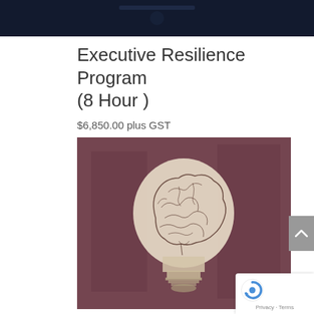[Figure (screenshot): Dark header banner image with subtle blue/dark elements]
Executive Resilience Program (8 Hour )
$6,850.00 plus GST
[Figure (illustration): Illustration of a human brain inside a light bulb shape, drawn in pencil sketch style, set against a dark mauve/burgundy textured background]